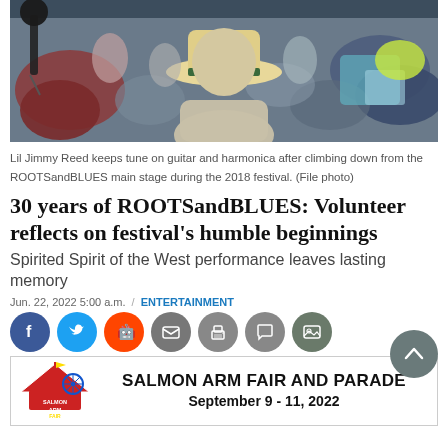[Figure (photo): Crowd at a music festival; person in foreground wearing a tan wide-brim hat with green band, viewed from behind; colorful crowd and stage in background.]
Lil Jimmy Reed keeps tune on guitar and harmonica after climbing down from the ROOTSandBLUES main stage during the 2018 festival. (File photo)
30 years of ROOTSandBLUES: Volunteer reflects on festival's humble beginnings
Spirited Spirit of the West performance leaves lasting memory
Jun. 22, 2022 5:00 a.m.  /  ENTERTAINMENT
[Figure (infographic): Social media share buttons: Facebook, Twitter, Reddit, Email, Print, Comment, Photo gallery]
[Figure (infographic): Scroll-to-top circular button with upward chevron icon]
[Figure (other): Advertisement: Salmon Arm Fair and Parade, September 9-11, 2022]